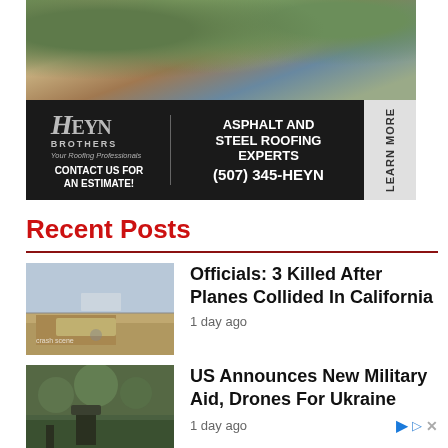[Figure (photo): Aerial view of a brick house with green landscaping, advertisement for Heyn Brothers roofing company. Text: HEYN BROTHERS Your Roofing Professionals, ASPHALT AND STEEL ROOFING EXPERTS, CONTACT US FOR AN ESTIMATE!, (507) 345-HEYN, LEARN MORE]
Recent Posts
[Figure (photo): Photo of a plane crash scene with people looking at wreckage near a fence]
Officials: 3 Killed After Planes Collided In California
1 day ago
[Figure (photo): Photo of military equipment firing in a field, Ukraine war scene]
US Announces New Military Aid, Drones For Ukraine
1 day ago
[Figure (photo): Partial thumbnail of a third news article]